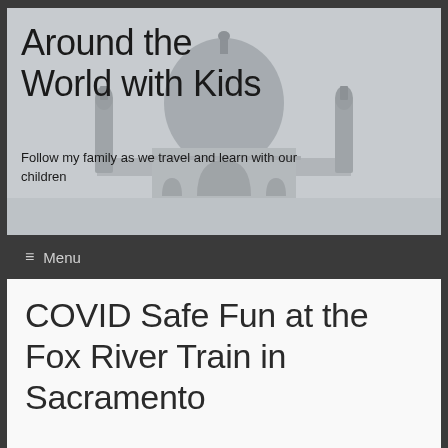[Figure (photo): Black and white photo of the Taj Mahal with its dome and minarets visible against a light sky, used as a website header background image]
Around the World with Kids
Follow my family as we travel and learn with our children
≡ Menu
COVID Safe Fun at the Fox River Train in Sacramento